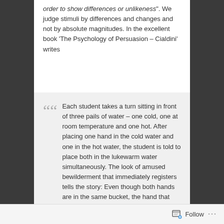order to show differences or unlikeness". We judge stimuli by differences and changes and not by absolute magnitudes. In the excellent book 'The Psychology of Persuasion – Cialdini' writes
Each student takes a turn sitting in front of three pails of water – one cold, one at room temperature and one hot. After placing one hand in the cold water and one in the hot water, the student is told to place both in the lukewarm water simultaneously. The look of amused bewilderment that immediately registers tells the story: Even though both hands are in the same bucket, the hand that has been in the cold water feels as if it is now in hot water, while the hand that was in hot water feels as if is is now in cold
Follow ···